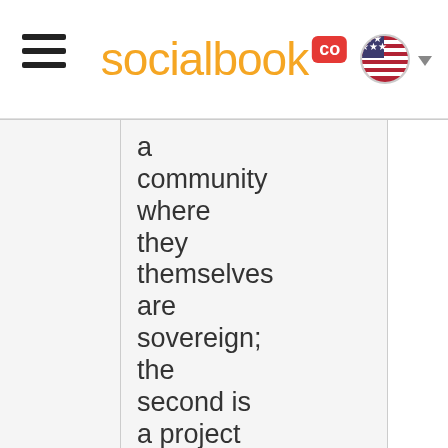socialbook CO
a community where they themselves are sovereign; the second is a project for child development and education that